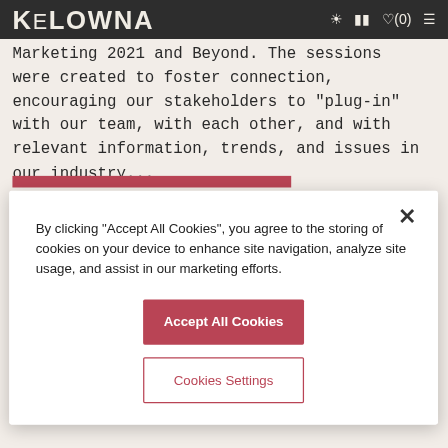KELOWNA
Marketing 2021 and Beyond. The sessions were created to foster connection, encouraging our stakeholders to "plug-in" with our team, with each other, and with relevant information, trends, and issues in our industry...
By clicking "Accept All Cookies", you agree to the storing of cookies on your device to enhance site navigation, analyze site usage, and assist in our marketing efforts.
Accept All Cookies
Cookies Settings